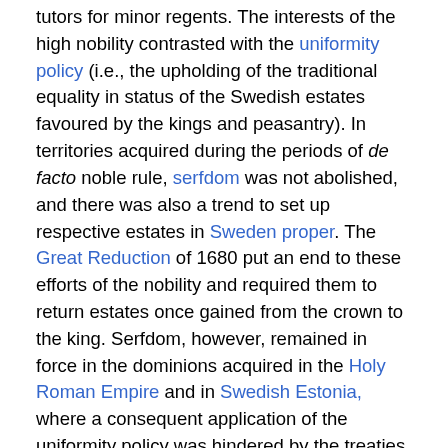tutors for minor regents. The interests of the high nobility contrasted with the uniformity policy (i.e., the upholding of the traditional equality in status of the Swedish estates favoured by the kings and peasantry). In territories acquired during the periods of de facto noble rule, serfdom was not abolished, and there was also a trend to set up respective estates in Sweden proper. The Great Reduction of 1680 put an end to these efforts of the nobility and required them to return estates once gained from the crown to the king. Serfdom, however, remained in force in the dominions acquired in the Holy Roman Empire and in Swedish Estonia, where a consequent application of the uniformity policy was hindered by the treaties by which they were gained.
After the victories in the Thirty Years' War, the climax of the great power era was reached during the Second Northern War, when the primary adversary Denmark was